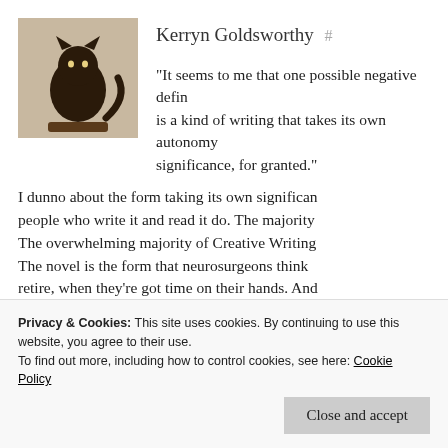Kerryn Goldsworthy #
“It seems to me that one possible negative defin… is a kind of writing that takes its own autonomy… significance, for granted.”
I dunno about the form taking its own significan… people who write it and read it do. The majority… The overwhelming majority of Creative Writing… The novel is the form that neurosurgeons think… retire, when they're got time on their hands. And… short story, an essay or a piece of creative nonf… the question most people ask is ‘Oh yes, and wh… novel?’ The privileging of the novel over other li…
Privacy & Cookies: This site uses cookies. By continuing to use this website, you agree to their use.
To find out more, including how to control cookies, see here: Cookie Policy
Close and accept